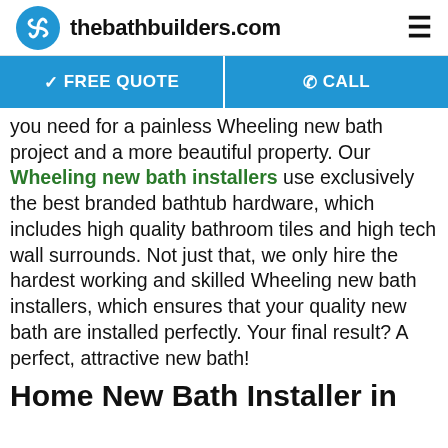thebathbuilders.com
✓ FREE QUOTE | @CALL
you need for a painless Wheeling new bath project and a more beautiful property. Our Wheeling new bath installers use exclusively the best branded bathtub hardware, which includes high quality bathroom tiles and high tech wall surrounds. Not just that, we only hire the hardest working and skilled Wheeling new bath installers, which ensures that your quality new bath are installed perfectly. Your final result? A perfect, attractive new bath!
Home New Bath Installer in